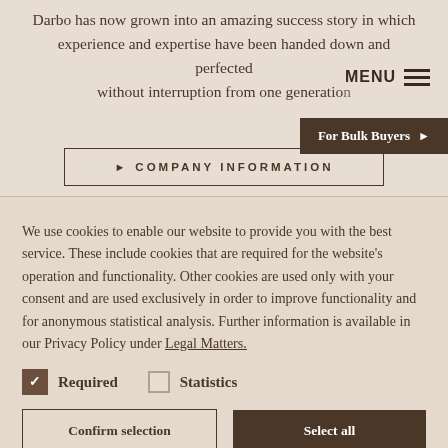Darbo has now grown into an amazing success story in which experience and expertise have been handed down and perfected without interruption from one generation
MENU
For Bulk Buyers ▶
▶ COMPANY INFORMATION
We use cookies to enable our website to provide you with the best service. These include cookies that are required for the website's operation and functionality. Other cookies are used only with your consent and are used exclusively in order to improve functionality and for anonymous statistical analysis. Further information is available in our Privacy Policy under Legal Matters.
Required
Statistics
Confirm selection
Select all